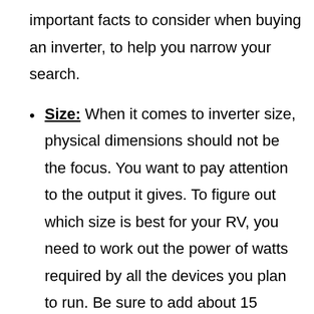important facts to consider when buying an inverter, to help you narrow your search.
Size: When it comes to inverter size, physical dimensions should not be the focus. You want to pay attention to the output it gives. To figure out which size is best for your RV, you need to work out the power of watts required by all the devices you plan to run. Be sure to add about 15 percent to the total that you get and look for an inverter that covers the watts you need. I would say most of the time, if you are not planning to run high wattage devices at the same time, 2000 or max 3000 Wats inverter